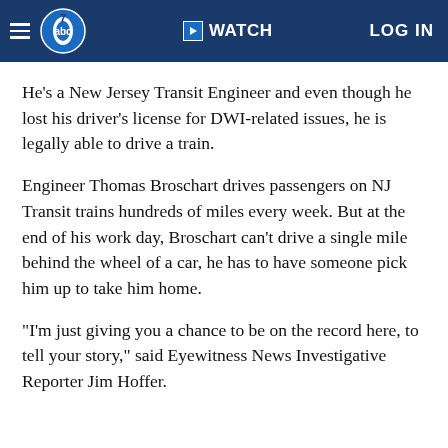ABC7 | WATCH | LOG IN
He's a New Jersey Transit Engineer and even though he lost his driver's license for DWI-related issues, he is legally able to drive a train.
Engineer Thomas Broschart drives passengers on NJ Transit trains hundreds of miles every week. But at the end of his work day, Broschart can't drive a single mile behind the wheel of a car, he has to have someone pick him up to take him home.
"I'm just giving you a chance to be on the record here, to tell your story," said Eyewitness News Investigative Reporter Jim Hoffer.